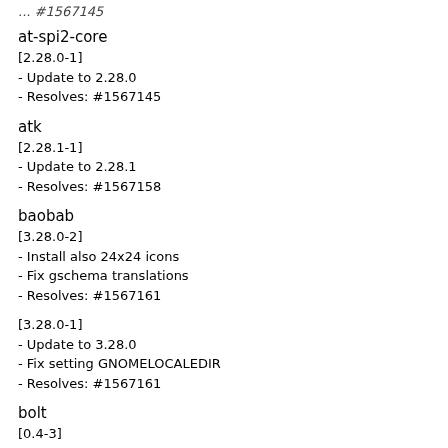... #1567145
at-spi2-core
[2.28.0-1]
- Update to 2.28.0
- Resolves: #1567145
atk
[2.28.1-1]
- Update to 2.28.1
- Resolves: #1567158
baobab
[3.28.0-2]
- Install also 24x24 icons
- Fix gschema translations
- Resolves: #1567161
[3.28.0-1]
- Update to 3.28.0
- Fix setting GNOMELOCALEDIR
- Resolves: #1567161
bolt
[0.4-3]
- Include patch to tighten sandbox by restricting capabilities